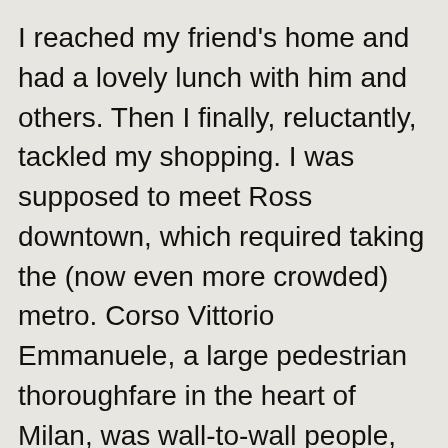I reached my friend's home and had a lovely lunch with him and others. Then I finally, reluctantly, tackled my shopping. I was supposed to meet Ross downtown, which required taking the (now even more crowded) metro. Corso Vittorio Emmanuele, a large pedestrian thoroughfare in the heart of Milan, was wall-to-wall people, many of them with lit cigarettes wafting smoke into my face. I saw two well-dressed young men who had stopped in the middle of the street to enjoy a snack of freshly-roasted chestnuts, and were casually